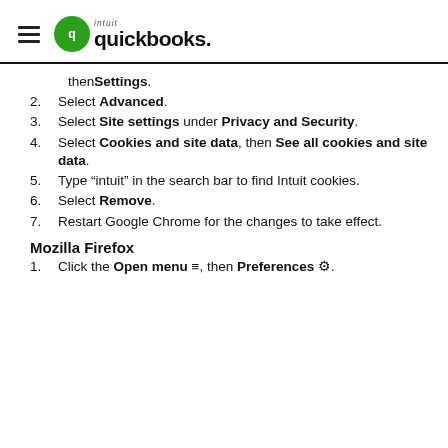QuickBooks (Intuit) logo and hamburger menu
then Settings.
2. Select Advanced.
3. Select Site settings under Privacy and Security.
4. Select Cookies and site data, then See all cookies and site data.
5. Type “intuit” in the search bar to find Intuit cookies.
6. Select Remove.
7. Restart Google Chrome for the changes to take effect.
Mozilla Firefox
1. Click the Open menu ≡, then Preferences ⚙.